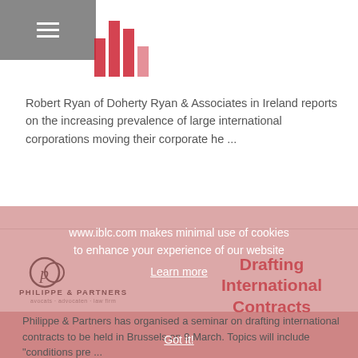[Figure (logo): Navigation hamburger menu button (grey square with three white horizontal lines) and red bar chart logo marks]
Robert Ryan of Doherty Ryan & Associates in Ireland reports on the increasing prevalence of large international corporations moving their corporate he ...
[Figure (logo): Philippe & Partners logo with stylized 'p' icon, text 'PHILIPPE & PARTNERS' and subtitle 'avocats · advocaten · law firm']
Drafting International Contracts
www.iblc.com makes minimal use of cookies to enhance your experience of our website
Learn more
Got it!
Philippe & Partners has organised a seminar on drafting international contracts to be held in Brussels on 9 March. Topics will include "conditions pre ..."